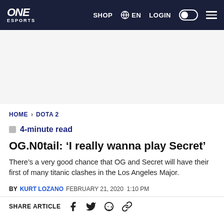ONE ESPORTS | SHOP | EN | LOGIN
HOME > DOTA 2
4-minute read
OG.N0tail: ‘I really wanna play Secret’
There’s a very good chance that OG and Secret will have their first of many titanic clashes in the Los Angeles Major.
BY KURT LOZANO FEBRUARY 21, 2020 1:10 PM
SHARE ARTICLE